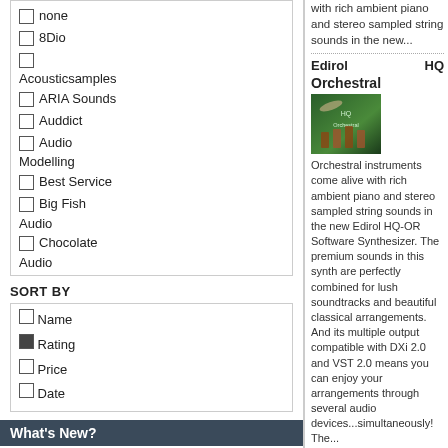none
8Dio
Acousticsamples
ARIA Sounds
Auddict
Audio Modelling
Best Service
Big Fish Audio
Chocolate Audio
SORT BY
Name
Rating
Price
Date
What's New?
[Figure (photo): Disco In The House album art - colorful disco themed image with woman and disco ball]
Disco In The
with rich ambient piano and stereo sampled string sounds in the new...
Edirol HQ
Orchestral
Orchestral instruments come alive with rich ambient piano and stereo sampled string sounds in the new Edirol HQ-OR Software Synthesizer. The premium sounds in this synth are perfectly combined for lush soundtracks and beautiful classical arrangements. And its multiple output compatible with DXi 2.0 and VST 2.0 means you can enjoy your arrangements through several audio devices...simultaneously! The...
$10.00
Nexus Expansion:
Dance Orchestra
ReFX Nexus Expansion: Dance Orchestra You will be impressed by the high quality of choirs sounding like angels,